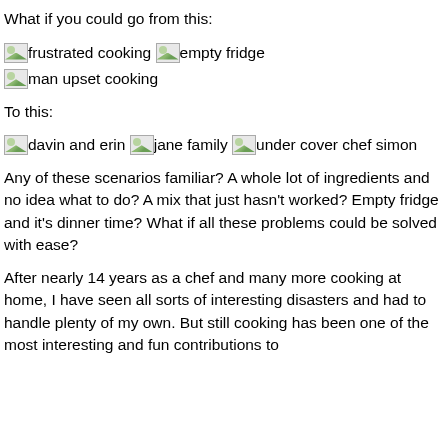What if you could go from this:
[Figure (photo): Broken image placeholder labeled 'frustrated cooking']
[Figure (photo): Broken image placeholder labeled 'empty fridge']
[Figure (photo): Broken image placeholder labeled 'man upset cooking']
To this:
[Figure (photo): Broken image placeholder labeled 'davin and erin']
[Figure (photo): Broken image placeholder labeled 'jane family']
[Figure (photo): Broken image placeholder labeled 'under cover chef simon']
Any of these scenarios familiar? A whole lot of ingredients and no idea what to do? A mix that just hasn't worked? Empty fridge and it's dinner time? What if all these problems could be solved with ease?
After nearly 14 years as a chef and many more cooking at home, I have seen all sorts of interesting disasters and had to handle plenty of my own. But still cooking has been one of the most interesting and fun contributions to